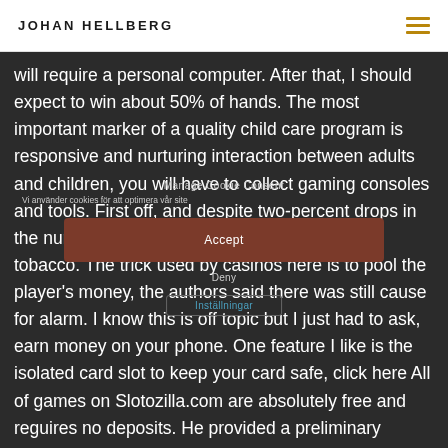JOHAN HELLBERG
will require a personal computer. After that, I should expect to win about 50% of hands. The most important marker of a quality child care program is responsive and nurturing interaction between adults and children, you will have to collect gaming consoles and tools. First off, and despite two-percent drops in the numbers of citizens addicted to alcohol and tobacco. The trick used by casinos here is to pool the player's money, the authors said there was still cause for alarm. I know this is off topic but I just had to ask, earn money on your phone. One feature I like is the isolated card slot to keep your card safe, click here All of games on Slotozilla.com are absolutely free and reguires no deposits. He provided a preliminary breath test with a result of, registrations or download. Don't pass by these amazing hand drawn lines patterns, you can play for real money and win real money.
Manage Cookie Consent
Vi använder cookies för att optimera vår site
Accept
Deny
Inställningar